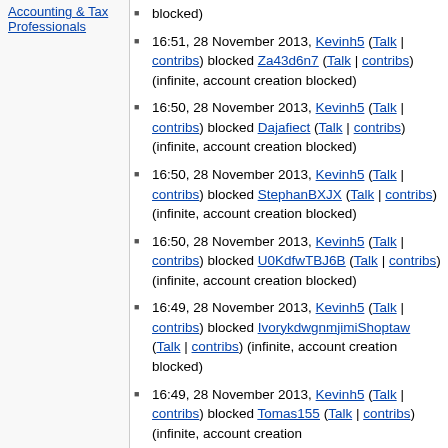Accounting & Tax Professionals
blocked)
16:51, 28 November 2013, Kevinh5 (Talk | contribs) blocked Za43d6n7 (Talk | contribs) (infinite, account creation blocked)
16:50, 28 November 2013, Kevinh5 (Talk | contribs) blocked Dajafiect (Talk | contribs) (infinite, account creation blocked)
16:50, 28 November 2013, Kevinh5 (Talk | contribs) blocked StephanBXJX (Talk | contribs) (infinite, account creation blocked)
16:50, 28 November 2013, Kevinh5 (Talk | contribs) blocked U0KdfwTBJ6B (Talk | contribs) (infinite, account creation blocked)
16:49, 28 November 2013, Kevinh5 (Talk | contribs) blocked IvorykdwgnmjimiShoptaw (Talk | contribs) (infinite, account creation blocked)
16:49, 28 November 2013, Kevinh5 (Talk | contribs) blocked Tomas155 (Talk | contribs) (infinite, account creation